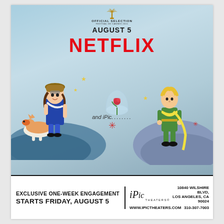[Figure (illustration): Movie advertisement poster for 'The Little Prince' animated film. Shows two animated characters: a young girl with braids on the left side standing on a hilltop with a fox, and The Little Prince character in green suit on the right standing on his small planet. A rose under a glass bell jar floats in the middle. Cannes Official Selection badge at top. 'AUGUST 5' in bold black text, 'NETFLIX' in large red text, and 'and iPic.........' in italic script below. Decorative pink/red snowflake stars and yellow stars scattered around.]
OFFICIAL SELECTION
AUGUST 5
NETFLIX
and iPic.........
EXCLUSIVE ONE-WEEK ENGAGEMENT
STARTS FRIDAY, AUGUST 5
iPic THEATERS 10840 WILSHIRE BLVD, LOS ANGELES, CA 90024
WWW.IPICTHEATERS.COM   310-307-7003